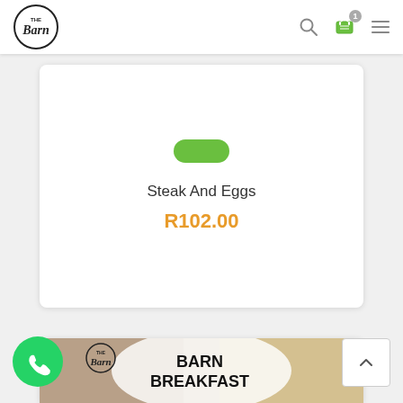The Barn - navigation bar with logo, search, cart, and menu icons
Steak And Eggs
R102.00
[Figure (photo): Barn Breakfast promotional image showing breakfast foods including eggs, bacon, orange slices, bread rolls with The Barn logo overlay and BARN BREAKFAST text]
[Figure (logo): WhatsApp contact button (green circle with phone icon)]